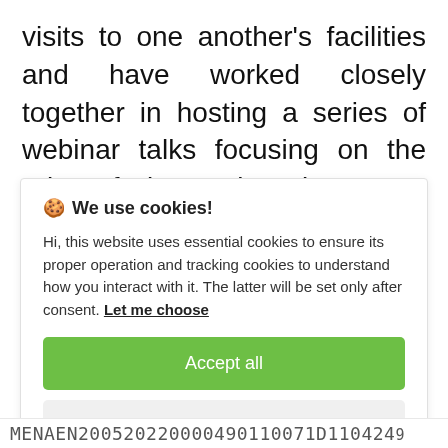visits to one another's facilities and have worked closely together in hosting a series of webinar talks focusing on the role of innovation in space exploration and the aluminium industry.
🍪 We use cookies!

Hi, this website uses essential cookies to ensure its proper operation and tracking cookies to understand how you interact with it. The latter will be set only after consent. Let me choose

[Accept all] [Reject all]
MENAEN200520220000490110071D110424